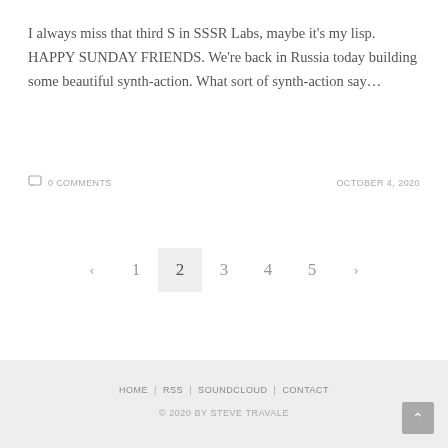I always miss that third S in SSSR Labs, maybe it's my lisp. HAPPY SUNDAY FRIENDS. We're back in Russia today building some beautiful synth-action. What sort of synth-action say…
0 COMMENTS    OCTOBER 4, 2020
‹  1  2  3  4  5  ›
HOME | RSS | SOUNDCLOUD | CONTACT
© 2020 BY STEVE TRAVALE